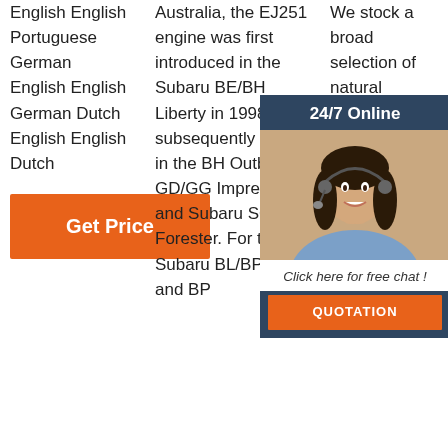English English Portuguese German English English German Dutch English English Dutch
Australia, the EJ251 engine was first introduced in the Subaru BE/BH Liberty in 1998 and subsequently offered in the BH Outback, GD/GG Impreza RS and Subaru SG Forester. For the Subaru BL/BP Liberty and BP
We stock a broad selection of natural European wo... ar... Os... W... bu... m... an... su... Erzgebirge folk art Christmas decorations, stuffed animals, and
Get Price
[Figure (infographic): 24/7 Online chat widget with photo of woman wearing headset, 'Click here for free chat!' text, and orange QUOTATION button]